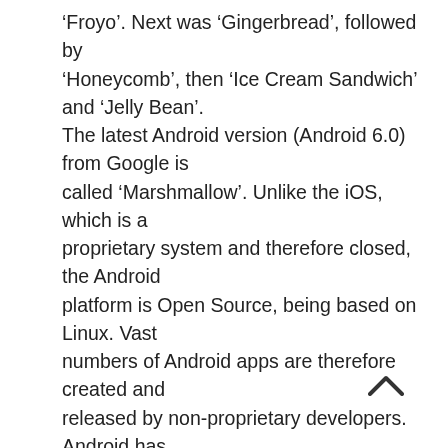'Froyo'. Next was 'Gingerbread', followed by 'Honeycomb', then 'Ice Cream Sandwich' and 'Jelly Bean'. The latest Android version (Android 6.0) from Google is called 'Marshmallow'. Unlike the iOS, which is a proprietary system and therefore closed, the Android platform is Open Source, being based on Linux. Vast numbers of Android apps are therefore created and released by non-proprietary developers. Android has always been appreciated for its beautiful appearance and superb performance. New features, many of them contributed indirectly by Google fans and outside developers, contributed to androids immense success. Embedded in the OS is the official app market containing millions of different apps for android devices, and called Google Play Store. Apart from iPhones, using iOS, most of the top mobile phones use Android. Among them are Apple iPhone's main competitor Samsung Galaxy (Gio S3 and the latest S20), HTC, Motorola, Xiaomi, Oppo and